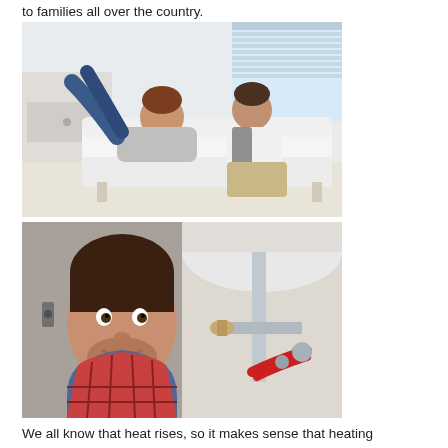to families all over the country.
[Figure (photo): A couple relaxing together on a white sofa in a bright living room. The woman is lying with her legs across the man's lap, both smiling.]
[Figure (photo): A male plumber or technician working under a sink, looking at the camera with a smile, holding red pliers near pipes and fittings.]
We all know that heat rises, so it makes sense that heating